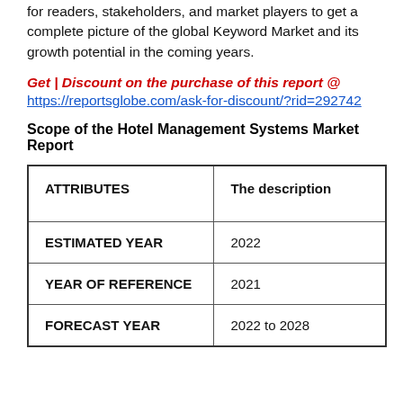for readers, stakeholders, and market players to get a complete picture of the global Keyword Market and its growth potential in the coming years.
Get | Discount on the purchase of this report @ https://reportsglobe.com/ask-for-discount/?rid=292742
Scope of the Hotel Management Systems Market Report
| ATTRIBUTES | The description |
| --- | --- |
| ESTIMATED YEAR | 2022 |
| YEAR OF REFERENCE | 2021 |
| FORECAST YEAR | 2022 to 2028 |